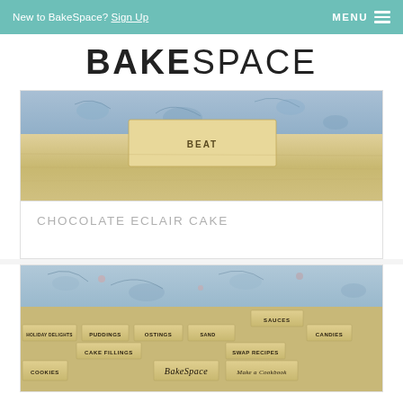New to BakeSpace? Sign Up   MENU
BAKESPACE
[Figure (photo): Close-up photo of a recipe box with a wooden divider tab labeled 'BEAT', with a blue floral fabric background]
CHOCOLATE ECLAIR CAKE
[Figure (photo): Photo of recipe box divider tabs with labels: HOLIDAY DELIGHTS, PUDDINGS, FROSTINGS, SANDWICHES, SAUCES, CAKE FILLINGS, SWAP RECIPES, CANDIES, BakeSpace, MAKE A COOKBOOK, COOKIES, CAKES]